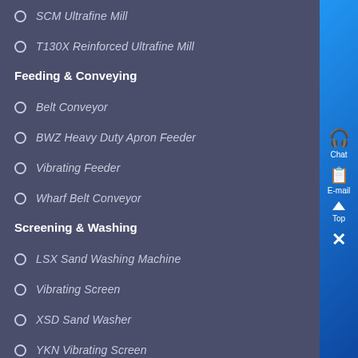SCM Ultrafine Mill
T130X Reinforced Ultrafine Mill
Feeding & Conveying
Belt Conveyor
BWZ Heavy Duty Apron Feeder
Vibrating Feeder
Wharf Belt Conveyor
Screening & Washing
LSX Sand Washing Machine
Vibrating Screen
XSD Sand Washer
YKN Vibrating Screen
Portable & Mobile